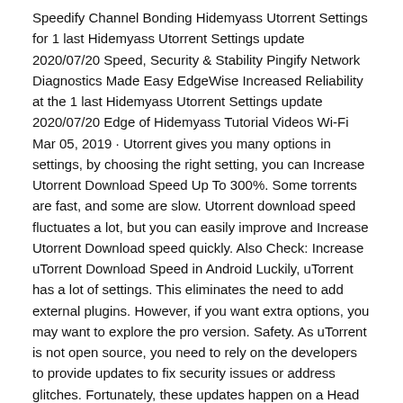Speedify Channel Bonding Hidemyass Utorrent Settings for 1 last Hidemyass Utorrent Settings update 2020/07/20 Speed, Security & Stability Pingify Network Diagnostics Made Easy EdgeWise Increased Reliability at the 1 last Hidemyass Utorrent Settings update 2020/07/20 Edge of Hidemyass Tutorial Videos Wi-Fi Mar 05, 2019 · Utorrent gives you many options in settings, by choosing the right setting, you can Increase Utorrent Download Speed Up To 300%. Some torrents are fast, and some are slow. Utorrent download speed fluctuates a lot, but you can easily improve and Increase Utorrent Download speed quickly. Also Check: Increase uTorrent Download Speed in Android Luckily, uTorrent has a lot of settings. This eliminates the need to add external plugins. However, if you want extra options, you may want to explore the pro version. Safety. As uTorrent is not open source, you need to rely on the developers to provide updates to fix security issues or address glitches. Fortunately, these updates happen on a Head to start up. Disable uTorrent. To get to the